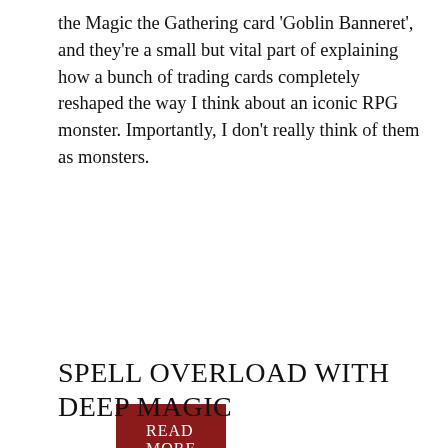the Magic the Gathering card 'Goblin Banneret', and they're a small but vital part of explaining how a bunch of trading cards completely reshaped the way I think about an iconic RPG monster. Importantly, I don't really think of them as monsters.
READ MORE
Blogs
SPELL OVERLOAD WITH DEEP MAGIC
Posted on October 1, 2019 | by R.M. Jansen-Parkes | Leave a comment